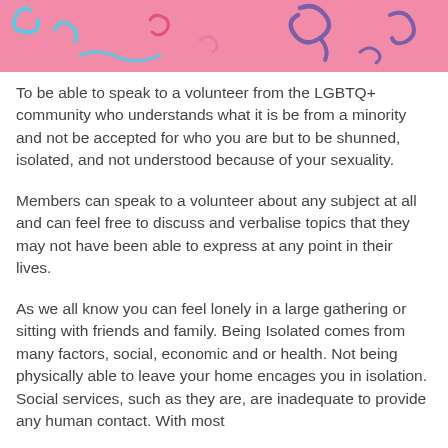[Figure (illustration): Pink decorative banner with colorful swirling shapes and squiggles in blue, purple, and pink tones.]
To be able to speak to a volunteer from the LGBTQ+ community who understands what it is be from a minority and not be accepted for who you are but to be shunned, isolated, and not understood because of your sexuality.
Members can speak to a volunteer about any subject at all and can feel free to discuss and verbalise topics that they may not have been able to express at any point in their lives.
As we all know you can feel lonely in a large gathering or sitting with friends and family. Being Isolated comes from many factors, social, economic and or health. Not being physically able to leave your home encages you in isolation. Social services, such as they are, are inadequate to provide any human contact. With most